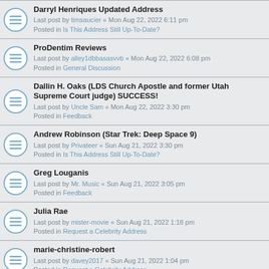Darryl Henriques Updated Address
Last post by timsaucier « Mon Aug 22, 2022 6:11 pm
Posted in Is This Address Still Up-To-Date?
ProDentim Reviews
Last post by alley1dbbasasvvb « Mon Aug 22, 2022 6:08 pm
Posted in General Discussion
Dallin H. Oaks (LDS Church Apostle and former Utah Supreme Court judge) SUCCESS!
Last post by Uncle Sam « Mon Aug 22, 2022 3:30 pm
Posted in Feedback
Andrew Robinson (Star Trek: Deep Space 9)
Last post by Privateer « Sun Aug 21, 2022 3:30 pm
Posted in Is This Address Still Up-To-Date?
Greg Louganis
Last post by Mr. Music « Sun Aug 21, 2022 3:05 pm
Posted in Feedback
Julia Rae
Last post by mister-movie « Sun Aug 21, 2022 1:18 pm
Posted in Request a Celebrity Address
marie-christine-robert
Last post by davey2017 « Sun Aug 21, 2022 1:04 pm
Posted in Request a Celebrity Address
Sean Astin IP Success
Last post by camnc123 « Sun Aug 21, 2022 11:55 am
Posted in In Person Successes
Ron Barnes